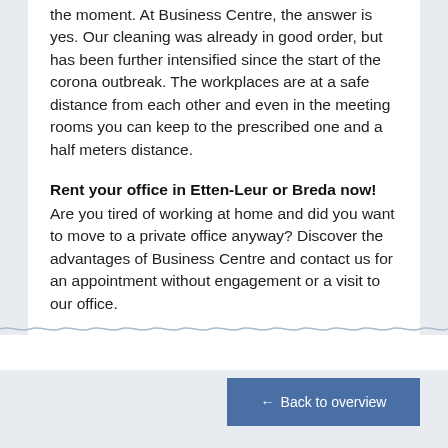the moment. At Business Centre, the answer is yes. Our cleaning was already in good order, but has been further intensified since the start of the corona outbreak. The workplaces are at a safe distance from each other and even in the meeting rooms you can keep to the prescribed one and a half meters distance.
Rent your office in Etten-Leur or Breda now!
Are you tired of working at home and did you want to move to a private office anyway? Discover the advantages of Business Centre and contact us for an appointment without engagement or a visit to our office.
← Back to overview